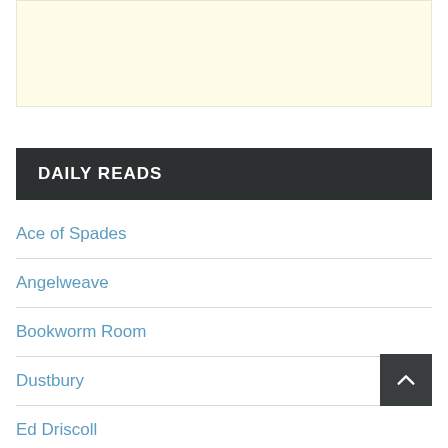[Figure (other): Light yellow advertisement banner placeholder]
DAILY READS
Ace of Spades
Angelweave
Bookworm Room
Dustbury
Ed Driscoll
Hot Air